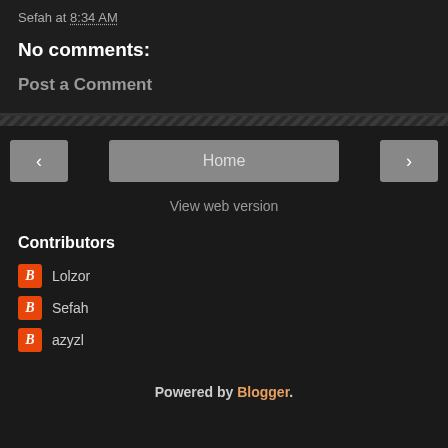Sefah at 8:34 AM
No comments:
Post a Comment
Home
View web version
Contributors
Lolzor
Sefah
azyzl
Powered by Blogger.